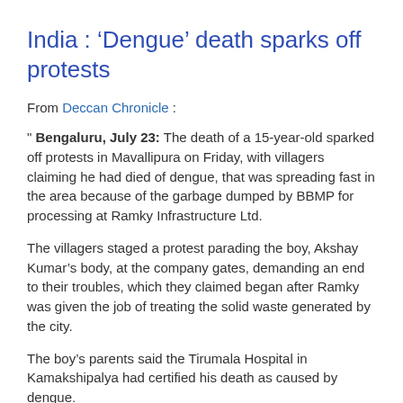India : ‘Dengue’ death sparks off protests
From Deccan Chronicle :
" Bengaluru, July 23: The death of a 15-year-old sparked off protests in Mavallipura on Friday, with villagers claiming he had died of dengue, that was spreading fast in the area because of the garbage dumped by BBMP for processing at Ramky Infrastructure Ltd.
The villagers staged a protest parading the boy, Akshay Kumar’s body, at the company gates, demanding an end to their troubles, which they claimed began after Ramky was given the job of treating the solid waste generated by the city.
The boy’s parents said the Tirumala Hospital in Kamakshipalya had certified his death as caused by dengue.